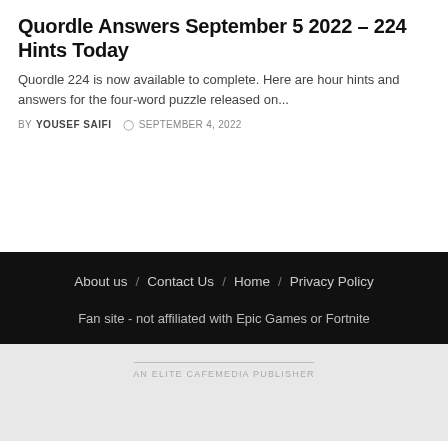Quordle Answers September 5 2022 – 224 Hints Today
Quordle 224 is now available to complete. Here are hour hints and answers for the four-word puzzle released on...
BY YOUSEF SAIFI  SEPTEMBER 4, 2022
About us / Contact Us / Home / Privacy Policy
Fan site - not affiliated with Epic Games or Fortnite
AN ELITE CAFEMEDIA PUBLISHER